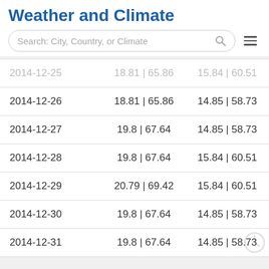Weather and Climate
Search: City, Country, or Climate
| Date | Col2 | Col3 |
| --- | --- | --- |
| 2014-12-25 | 18.81 | 65.86 | 15.84 | 60.51 |
| 2014-12-26 | 18.81 | 65.86 | 14.85 | 58.73 |
| 2014-12-27 | 19.8 | 67.64 | 14.85 | 58.73 |
| 2014-12-28 | 19.8 | 67.64 | 15.84 | 60.51 |
| 2014-12-29 | 20.79 | 69.42 | 15.84 | 60.51 |
| 2014-12-30 | 19.8 | 67.64 | 14.85 | 58.73 |
| 2014-12-31 | 19.8 | 67.64 | 14.85 | 58.73 |